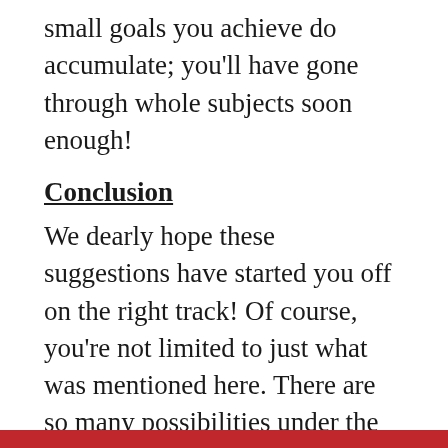small goals you achieve do accumulate; you'll have gone through whole subjects soon enough!
Conclusion
We dearly hope these suggestions have started you off on the right track! Of course, you're not limited to just what was mentioned here. There are so many possibilities under the sun, and no one can fault you for using holiday time to go out and enjoy yourself (that is the fundamental purpose of a holiday, after all). Situations and interests vary from person-to-person, but if there's any generalisation we can apply to any quest to do something one loves, a notable